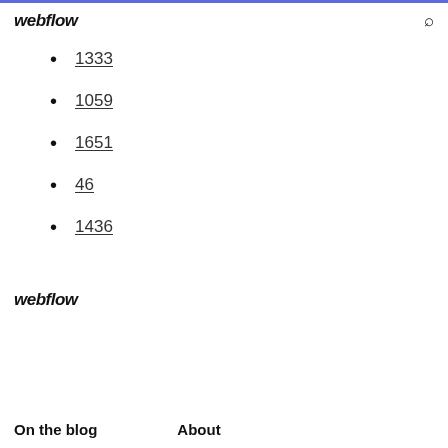webflow
1333
1059
1651
46
1436
webflow
On the blog   About